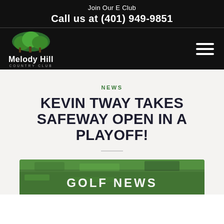Join Our E Club
Call us at (401) 949-9851
[Figure (logo): Melody Hill Country Club logo with green tree illustration and white text]
NEWS
KEVIN TWAY TAKES SAFEWAY OPEN IN A PLAYOFF!
[Figure (photo): Partially visible photo of golf green with text 'GOLF NEWS' overlaid in white]